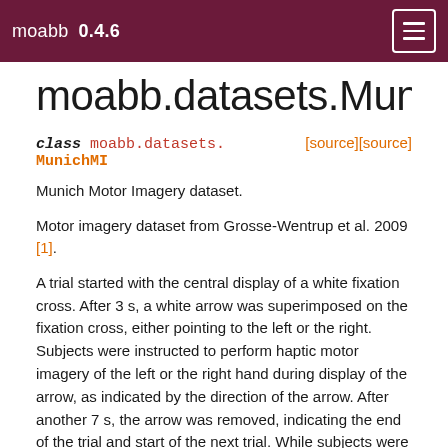moabb  0.4.6
moabb.datasets.MunichMI
class moabb.datasets. MunichMI [source][source]
Munich Motor Imagery dataset.
Motor imagery dataset from Grosse-Wentrup et al. 2009 [1].
A trial started with the central display of a white fixation cross. After 3 s, a white arrow was superimposed on the fixation cross, either pointing to the left or the right. Subjects were instructed to perform haptic motor imagery of the left or the right hand during display of the arrow, as indicated by the direction of the arrow. After another 7 s, the arrow was removed, indicating the end of the trial and start of the next trial. While subjects were explicitly instructed to perform haptic motor imagery with the specified hand, i.e., to imagine feeling instead of visualizing how their hands moved, the exact choice of which type of imaginary movement, i.e., moving the fingers up and down, gripping an object, etc., was left unspecified. A total of 150 trials per condition were carried